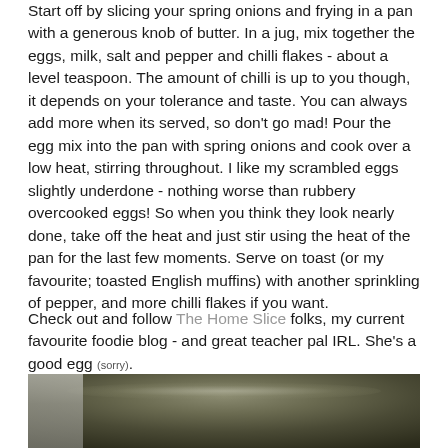Start off by slicing your spring onions and frying in a pan with a generous knob of butter. In a jug, mix together the eggs, milk, salt and pepper and chilli flakes - about a level teaspoon. The amount of chilli is up to you though, it depends on your tolerance and taste. You can always add more when its served, so don't go mad! Pour the egg mix into the pan with spring onions and cook over a low heat, stirring throughout. I like my scrambled eggs slightly underdone - nothing worse than rubbery overcooked eggs! So when you think they look nearly done, take off the heat and just stir using the heat of the pan for the last few moments. Serve on toast (or my favourite; toasted English muffins) with another sprinkling of pepper, and more chilli flakes if you want.
Check out and follow The Home Slice folks, my current favourite foodie blog - and great teacher pal IRL. She's a good egg (sorry).
[Figure (photo): A close-up photo of the inside of a dark metal cooking pan, showing egg mixture or scrambled eggs cooking, with kitchen background visible on the left side.]